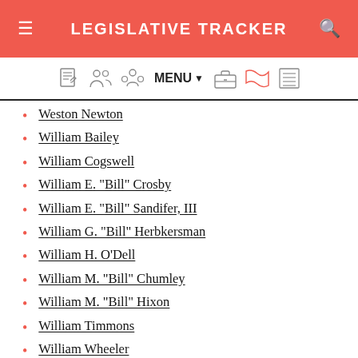LEGISLATIVE TRACKER
Weston Newton
William Bailey
William Cogswell
William E. "Bill" Crosby
William E. "Bill" Sandifer, III
William G. "Bill" Herbkersman
William H. O'Dell
William M. "Bill" Chumley
William M. "Bill" Hixon
William Timmons
William Wheeler
William Whitmire